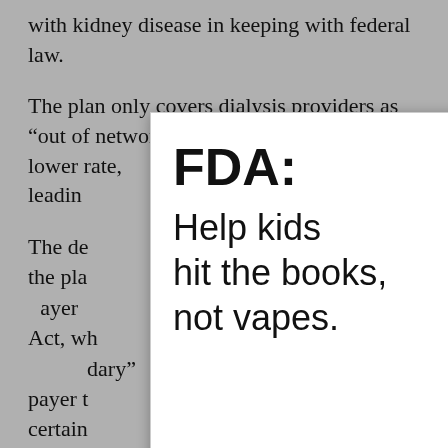with kidney disease in keeping with federal law.
The plan only covers dialysis providers as “out of network” and reimburses them at a lower rate, leading
The de that the pla ayer Act, wh ndary” payer t r certain stage renal d an violated that statute.
[Figure (infographic): FDA advertisement overlay with white left panel showing 'FDA: Help kids hit the books, not vapes.' with a red 'LEARN MORE' button, and a right panel with a photo of stacked books against a blue background, featuring a Campaign for Tobacco-Free Kids badge. An X close button is in the upper right.]
Under the law, group health plans aren’t allowed to take Medicare coverage into consideration